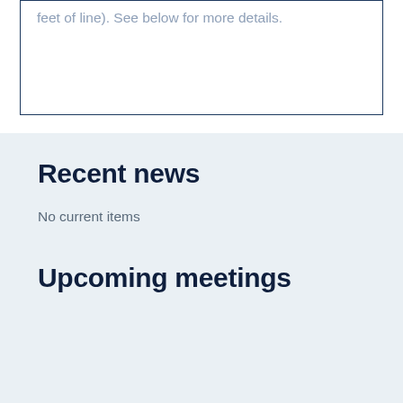feet of line). See below for more details.
Recent news
No current items
Upcoming meetings